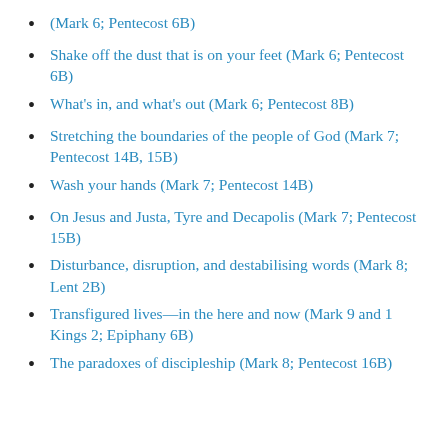(Mark 6; Pentecost 6B)
Shake off the dust that is on your feet (Mark 6; Pentecost 6B)
What's in, and what's out (Mark 6; Pentecost 8B)
Stretching the boundaries of the people of God (Mark 7; Pentecost 14B, 15B)
Wash your hands (Mark 7; Pentecost 14B)
On Jesus and Justa, Tyre and Decapolis (Mark 7; Pentecost 15B)
Disturbance, disruption, and destabilising words (Mark 8; Lent 2B)
Transfigured lives—in the here and now (Mark 9 and 1 Kings 2; Epiphany 6B)
The paradoxes of discipleship (Mark 8; Pentecost 16B)